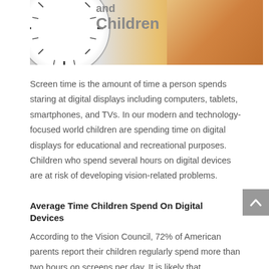[Figure (photo): Partial image of a clock face and a child using a tablet/digital device, with orange/warm background tones. Text overlay reads 'and Children' in bold gray.]
Screen time is the amount of time a person spends staring at digital displays including computers, tablets, smartphones, and TVs. In our modern and technology-focused world children are spending time on digital displays for educational and recreational purposes. Children who spend several hours on digital devices are at risk of developing vision-related problems.
Average Time Children Spend On Digital Devices
According to the Vision Council, 72% of American parents report their children regularly spend more than two hours on screens per day. It is likely that